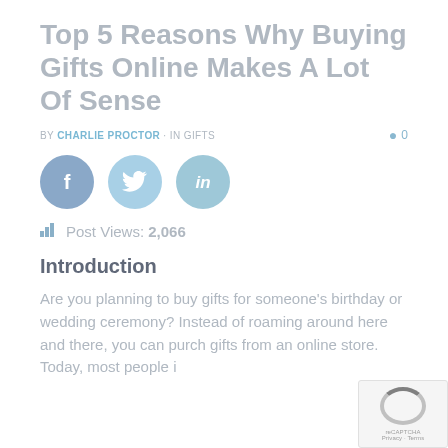Top 5 Reasons Why Buying Gifts Online Makes A Lot Of Sense
BY CHARLIE PROCTOR · IN GIFTS   0
[Figure (other): Social sharing buttons: Facebook (dark blue circle with f), Twitter (light blue circle with bird icon), LinkedIn (teal circle with in)]
Post Views: 2,066
Introduction
Are you planning to buy gifts for someone's birthday or wedding ceremony? Instead of roaming around here and there, you can purch gifts from an online store. Today, most people i